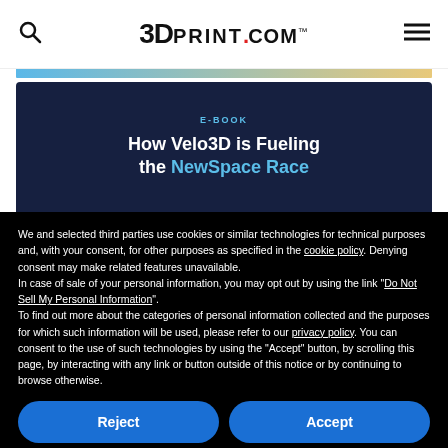3DPrint.com
[Figure (illustration): E-book cover: 'How Velo3D is Fueling the NewSpace Race' on dark blue background with subtitle in cyan]
We and selected third parties use cookies or similar technologies for technical purposes and, with your consent, for other purposes as specified in the cookie policy. Denying consent may make related features unavailable.
In case of sale of your personal information, you may opt out by using the link "Do Not Sell My Personal Information".
To find out more about the categories of personal information collected and the purposes for which such information will be used, please refer to our privacy policy.
You can consent to the use of such technologies by using the "Accept" button, by scrolling this page, by interacting with any link or button outside of this notice or by continuing to browse otherwise.
Reject
Accept
Learn more and customize